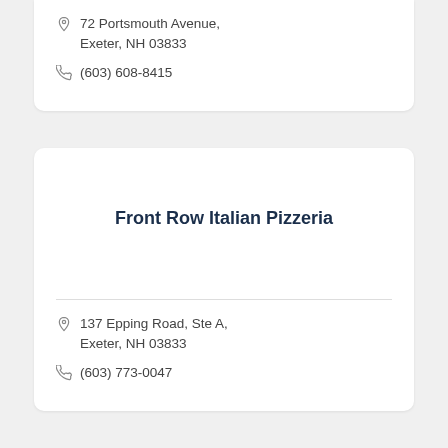72 Portsmouth Avenue, Exeter, NH 03833
(603) 608-8415
Front Row Italian Pizzeria
137 Epping Road, Ste A, Exeter, NH 03833
(603) 773-0047